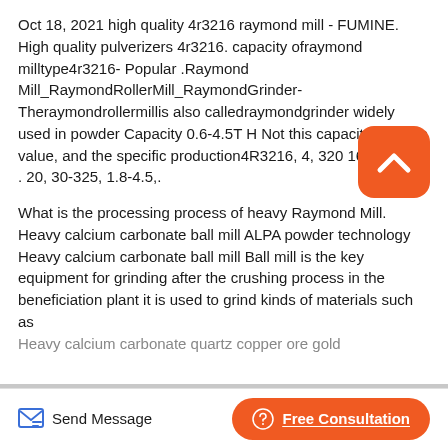Oct 18, 2021 high quality 4r3216 raymond mill - FUMINE. High quality pulverizers 4r3216. capacity ofraymond milltype4r3216- Popular .Raymond Mill_RaymondRollerMill_RaymondGrinder-Theraymondrollermillis also calledraymondgrinder widely used in powder Capacity 0.6-4.5T H Not this capacity is mean value, and the specific production4R3216, 4, 320 160, Φ970, . 20, 30-325, 1.8-4.5,.
[Figure (other): Orange rounded square button with white upward chevron/caret icon]
What is the processing process of heavy Raymond Mill. Heavy calcium carbonate ball mill ALPA powder technology Heavy calcium carbonate ball mill Ball mill is the key equipment for grinding after the crushing process in the beneficiation plant it is used to grind kinds of materials such as Heavy calcium carbonate quartz copper ore gold
Send Message   Free Consultation